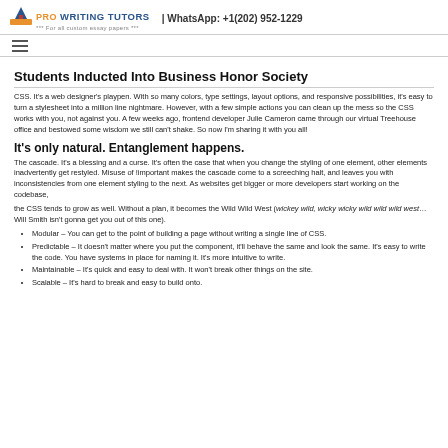PRO WRITING TUTORS | WhatsApp: +1(202) 952-1229
Students Inducted Into Business Honor Society
CSS. It's a web designer's playpen. With so many colors, type settings, layout options, and responsive possibilities, it's easy to turn a stylesheet into a million line nightmare. However, with a few simple actions you can clean up the mess so the CSS works with you, not against you. A few weeks ago, frontend developer Julie Cameron came through our virtual Treehouse office and bestowed some wisdom we still can't shake. So now I'm sharing it with you all!
It's only natural. Entanglement happens.
The cascade. It's a blessing and a curse. It's often the case that when you change the styling of one element, other elements inadvertently get restyled. Misuse of !important makes the cascade come to a screeching halt, and leaves you with inconsistencies from one element styling to the next. As websites get bigger or more developers start working on the codebase,
the CSS tends to grow as well. Without a plan, it becomes the Wild Wild West (wickey wild, wicky wicky wild wild wild west…Will Smith isn't gonna get you out of this one).
Modular – You can get to the point of building a page without writing a single line of CSS.
Predictable – It doesn't matter where you put the component, it'll behave the same and look the same. It's easy to write the code. You have systems in place for naming it. It's more intuitive to write.
Maintainable – It's quick and easy to deal with. It won't break other things on the site.
Scalable – It's hard to break and easy to build onto.